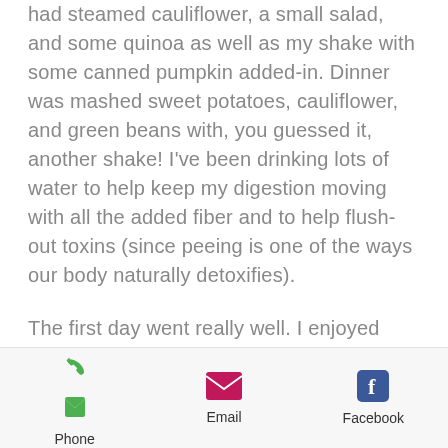had steamed cauliflower, a small salad, and some quinoa as well as my shake with some canned pumpkin added-in. Dinner was mashed sweet potatoes, cauliflower, and green beans with, you guessed it, another shake! I've been drinking lots of water to help keep my digestion moving with all the added fiber and to help flush-out toxins (since peeing is one of the ways our body naturally detoxifies).
The first day went really well. I enjoyed everything I ate and drank and I didn't have any food cravings. No general change in any particular symptoms that I've noticed. At least my digestion is...
Phone | Email | Facebook